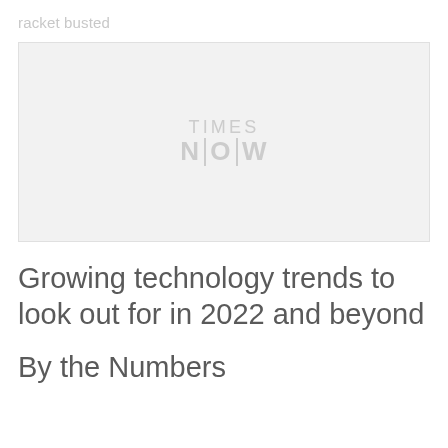racket busted
[Figure (logo): Times Now logo watermark on a light grey image placeholder background]
Growing technology trends to look out for in 2022 and beyond
By the Numbers